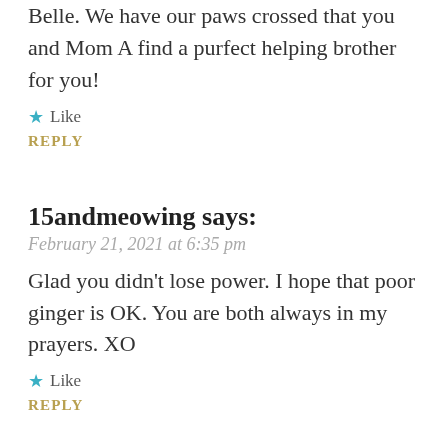Belle. We have our paws crossed that you and Mom A find a purfect helping brother for you!
★ Like
REPLY
15andmeowing says:
February 21, 2021 at 6:35 pm
Glad you didn't lose power. I hope that poor ginger is OK. You are both always in my prayers. XO
★ Like
REPLY